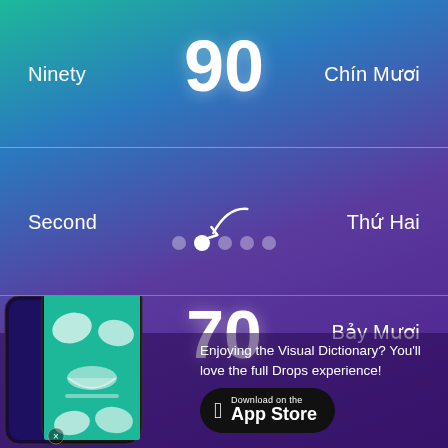Ninety
90
Chín Mươi
Second
[Figure (illustration): Arrow pointing down to a row of circles, with the second circle highlighted white, representing step 2 of a sequence.]
Thứ Hai
Seventy
70
Bảy Mươi
[Figure (photo): Smartphone showing the Drops language learning app interface with illustrated vocabulary items.]
Enjoying the Visual Dictionary? You'll love the full Drops experience!
[Figure (logo): Download on the App Store button with Apple logo.]